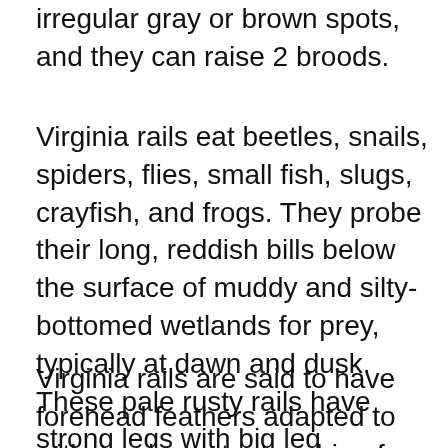irregular gray or brown spots, and they can raise 2 broods.
Virginia rails eat beetles, snails, spiders, flies, small fish, slugs, crayfish, and frogs. They probe their long, reddish bills below the surface of muddy and silty-bottomed wetlands for prey, typically at dawn and dusk. These pale rusty rails have strong legs with big leg muscles and exaggerated, long toes that help them walk and run on these floating mats of wetland vegetation.
Virginia rails are said to have forehead feathers adapted to withstand constant probing for food and moving through